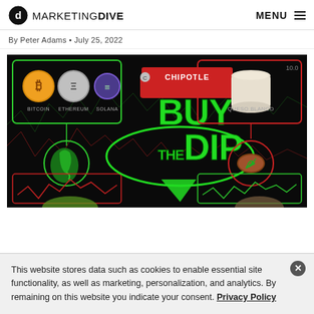MARKETING DIVE  MENU
By Peter Adams • July 25, 2022
[Figure (photo): Chipotle 'Buy The Dip' promotional image showing cryptocurrency coins (Bitcoin, Ethereum, Solana), Chipotle branding, and food items (Queso Blanco) on a dark background with stock chart graphics and green neon styling.]
This website stores data such as cookies to enable essential site functionality, as well as marketing, personalization, and analytics. By remaining on this website you indicate your consent. Privacy Policy